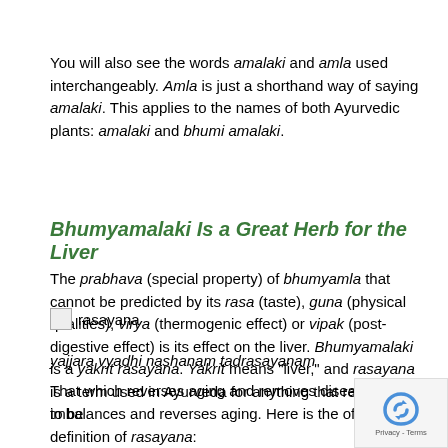You will also see the words amalaki and amla used interchangeably. Amla is just a shorthand way of saying amalaki. This applies to the names of both Ayurvedic plants: amalaki and bhumi amalaki.
Bhumyamalaki Is a Great Herb for the Liver
The prabhava (special property) of bhumyamla that cannot be predicted by its rasa (taste), guna (physical qualities), virya (thermogenic effect) or vipak (post-digestive effect) is its effect on the liver. Bhumyamalaki is a yakrit rasayana. Yakrit means “liver,” and rasayana is a term used in Ayurveda for anything that removes imbalances and reverses aging. Here is the official definition of rasayana:
[Figure (other): Small broken image icon labeled 'rasayana']
yajjara vyadhi nashanam tadrasayanam
That which reverses aging and removes disease is said to be